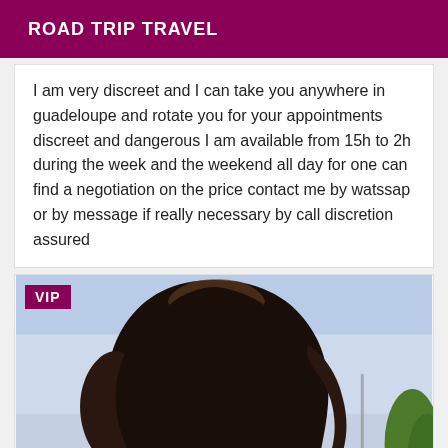ROAD TRIP TRAVEL
I am very discreet and I can take you anywhere in guadeloupe and rotate you for your appointments discreet and dangerous I am available from 15h to 2h during the week and the weekend all day for one can find a negotiation on the price contact me by watssap or by message if really necessary by call discretion assured
[Figure (photo): Photo of a person seen from behind with long dark hair, against a light sky background with green trees on the right. A purple VIP badge is in the top-left corner.]